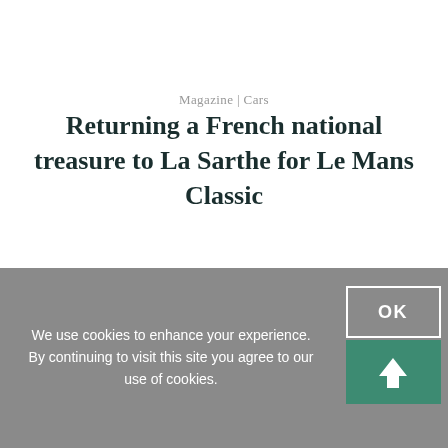Magazine | Cars
Returning a French national treasure to La Sarthe for Le Mans Classic
We use cookies to enhance your experience. By continuing to visit this site you agree to our use of cookies.